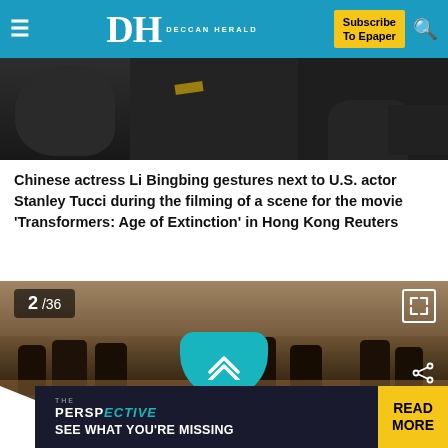Deccan Herald — Subscribe To Epaper
[Figure (photo): Dark background photo of filming scene — Chinese actress Li Bingbing and US actor Stanley Tucci on set of Transformers: Age of Extinction in Hong Kong]
Chinese actress Li Bingbing gestures next to U.S. actor Stanley Tucci during the filming of a scene for the movie 'Transformers: Age of Extinction' in Hong Kong Reuters
[Figure (photo): Outdoor scene with multiple horse riders galloping across dusty terrain with dry shrubs in background. Slide counter shows 2/36.]
SEE WHAT YOU'RE MISSING
THE PERSPECTIVE — READ MORE